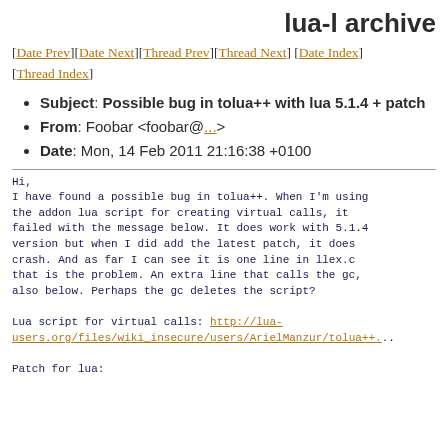lua-l archive
[Date Prev][Date Next][Thread Prev][Thread Next] [Date Index] [Thread Index]
Subject: Possible bug in tolua++ with lua 5.1.4 + patch
From: Foobar <foobar@...>
Date: Mon, 14 Feb 2011 21:16:38 +0100
Hi,
I have found a possible bug in tolua++. When I'm using the addon lua script for creating virtual calls, it failed with the message below. It does work with 5.1.4 version but when I did add the latest patch, it does crash. And as far I can see it is one line in llex.c that is the problem. An extra line that calls the gc, also below. Perhaps the gc deletes the script?

Lua script for virtual calls: http://lua-users.org/files/wiki_insecure/users/ArielManzur/tolua++...

Patch for lua: